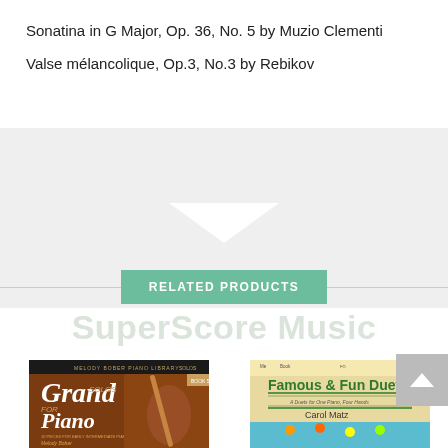Sonatina in G Major, Op. 36, No. 5 by Muzio Clementi
Valse mélancolique, Op.3, No.3 by Rebikov
[Figure (other): Gray area with a white downward-pointing triangle/arrow in the center, indicating a collapsible or expandable section]
[Figure (infographic): Green banner reading RELATED PRODUCTS with horizontal lines on each side, and watermark text SuperScore Music behind it]
[Figure (photo): Book cover: Grand Solos for Piano by Melody Bober, Melody Bober Piano Library]
[Figure (photo): Book cover: Famous & Fun Duets by Carol Matz, partially visible]